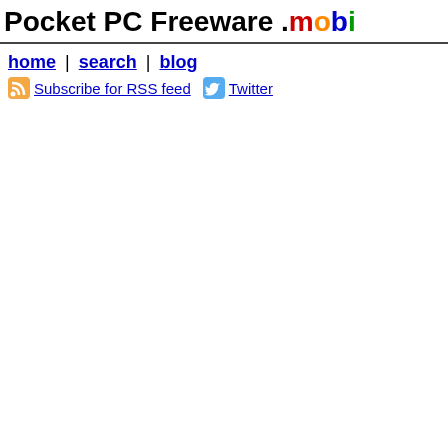Pocket PC Freeware .mobi
home | search | blog
Subscribe for RSS feed   Twitter